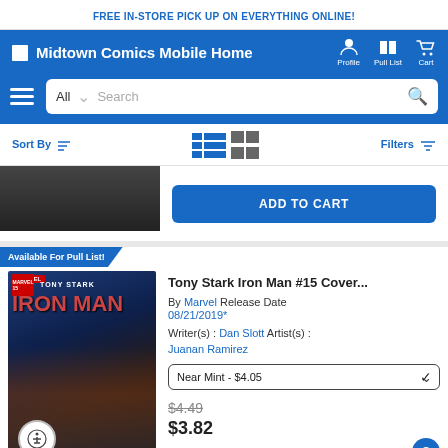FREE IN-STORE PICK UP ON EVERYTHING ONLINE!
Midtown Comics Mobile Home — Profile, Pull List, Cart
Sort By | Filters
ADD TO CART
Available For Pull List!
Tony Stark Iron Man #15 Cover...
By Marvel Release Date 08/21/2019* Writer(s): Dan Slott Artist(s): Juanan Ramirez
Near Mint - $4.05
$4.49
$3.82